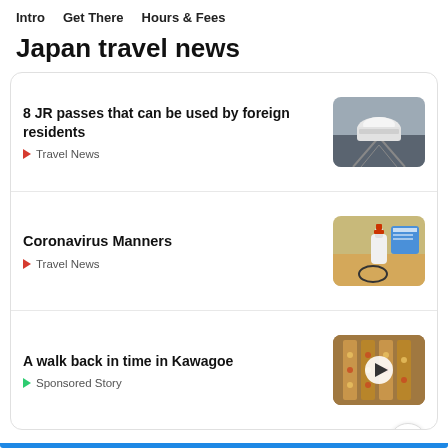Intro   Get There   Hours & Fees
Japan travel news
8 JR passes that can be used by foreign residents
▶ Travel News
[Figure (photo): Shinkansen bullet train on tracks]
Coronavirus Manners
▶ Travel News
[Figure (photo): Hand sanitizer bottle on a table with Japanese signage]
A walk back in time in Kawagoe
▶ Sponsored Story
[Figure (photo): Aerial view of Kawagoe market street with food stalls, play button overlay]